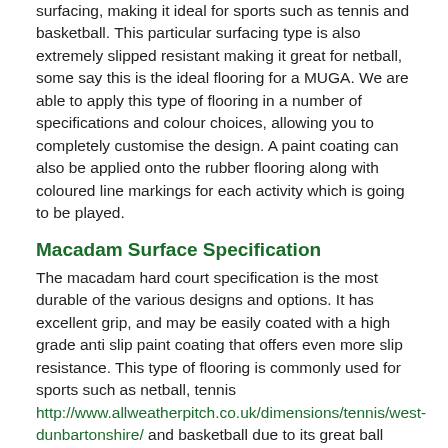surfacing, making it ideal for sports such as tennis and basketball. This particular surfacing type is also extremely slipped resistant making it great for netball, some say this is the ideal flooring for a MUGA. We are able to apply this type of flooring in a number of specifications and colour choices, allowing you to completely customise the design. A paint coating can also be applied onto the rubber flooring along with coloured line markings for each activity which is going to be played.
Macadam Surface Specification
The macadam hard court specification is the most durable of the various designs and options. It has excellent grip, and may be easily coated with a high grade anti slip paint coating that offers even more slip resistance. This type of flooring is commonly used for sports such as netball, tennis http://www.allweatherpitch.co.uk/dimensions/tennis/west-dunbartonshire/ and basketball due to its great ball bounce qualities.
Sports Facility Surfacing Costs in West Dunbartonshire
The main factor that affects the price of the various sports